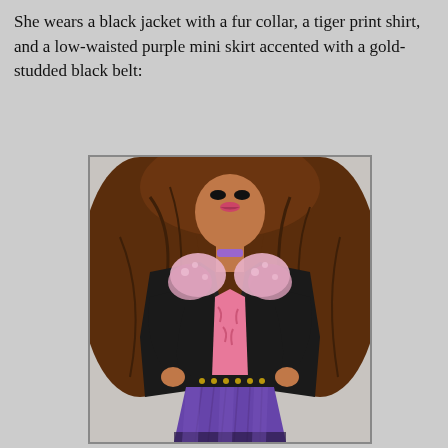She wears a black jacket with a fur collar, a tiger print shirt, and a low-waisted purple mini skirt accented with a gold-studded black belt:
[Figure (photo): A Monster High doll torso and head, showing a doll with brown hair, wearing a black leather jacket with a pink/lavender fur collar, a pink tiger print shirt, a purple pleated mini skirt, and a black belt with gold studs.]